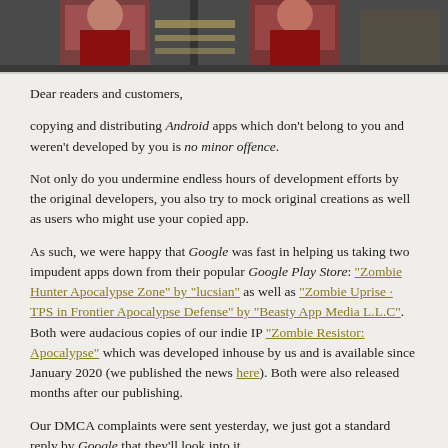[Figure (photo): A photo strip showing people in red clothing at what appears to be an indoor venue, repeated/tiled horizontally.]
Dear readers and customers,
copying and distributing Android apps which don't belong to you and weren't developed by you is no minor offence.
Not only do you undermine endless hours of development efforts by the original developers, you also try to mock original creations as well as users who might use your copied app.
As such, we were happy that Google was fast in helping us taking two impudent apps down from their popular Google Play Store: "Zombie Hunter Apocalypse Zone" by "lucsian" as well as "Zombie Uprise · TPS in Frontier Apocalypse Defense" by "Beasty App Media L.L.C". Both were audacious copies of our indie IP "Zombie Resistor: Apocalypse" which was developed inhouse by us and is available since January 2020 (we published the news here). Both were also released months after our publishing.
Our DMCA complaints were sent yesterday, we just got a standard reply by Google that they'll look into it.
As of today, as we checked recently, thanks to the hard working girls and guys there, the links as well as the corresponding apps are offline. Bigups and thanks a lot from AETHYX MEDIAE!